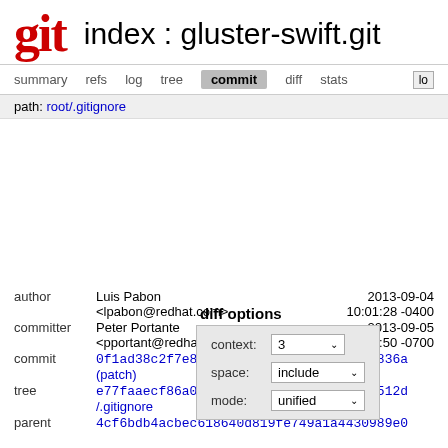git  index : gluster-swift.git
summary  refs  log  tree  commit  diff  stats  log
path: root/.gitignore
diff options
| context: | 3 |
| space: | include |
| mode: | unified |
author  Luis Pabon  2013-09-04
<lpabon@redhat.com>  10:01:28 -0400
committer  Peter Portante  2013-09-05
<pportant@redhat.com>  04:23:50 -0700
commit  0f1ad38c2f7e8d3cd6cce5db959773dc516d836a (patch)
tree  e77faaecf86a02e8f5584ac1fc841a3fd892512d /.gitignore
parent  4cf6bdb4acbec618640d819fe749a1a4430989e0